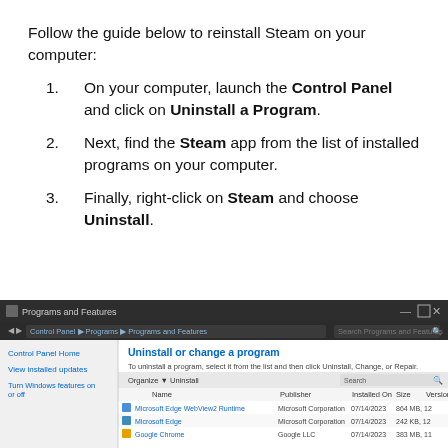Follow the guide below to reinstall Steam on your computer:
On your computer, launch the Control Panel and click on Uninstall a Program.
Next, find the Steam app from the list of installed programs on your computer.
Finally, right-click on Steam and choose Uninstall.
[Figure (screenshot): Windows Control Panel Programs and Features window showing Uninstall or change a program screen with a list of installed programs including Microsoft Edge WebView2 Runtime, Microsoft Edge, and Google Chrome.]